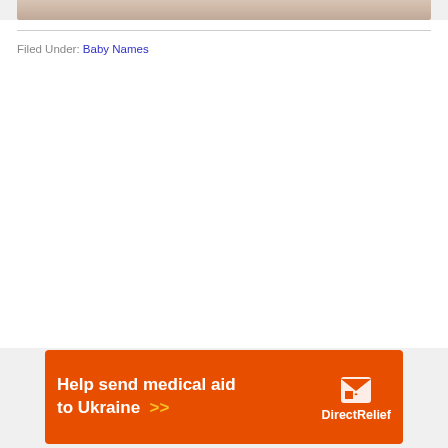[Figure (photo): Partial view of a baby photo, showing bottom edge of image with soft pink/skin tones on white background]
Filed Under: Baby Names
[Figure (illustration): Advertisement banner: orange background with white bold text 'Help send medical aid to Ukraine >>' with Direct Relief logo (white icon and white text) on right side]